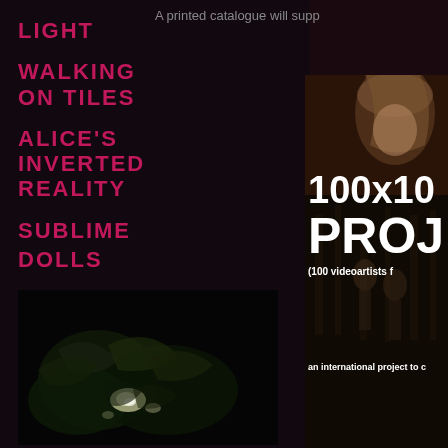A printed catalogue will supp
LIGHT
WALKING ON TILES
ALICE'S INVERTED REALITY
SUBLIME DOLLS
[Figure (illustration): Poster for 100x100 PROJECT - (100 videoartists ...) an international project to c... with background image of person with light hair in dark forest]
[Figure (photo): Dark photo of plants/leaves with light reflections on ground]